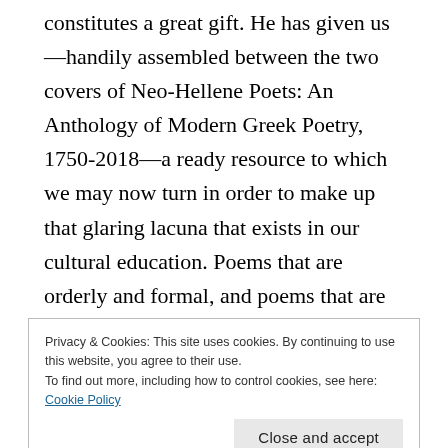constitutes a great gift. He has given us—handily assembled between the two covers of Neo-Hellene Poets: An Anthology of Modern Greek Poetry, 1750-2018—a ready resource to which we may now turn in order to make up that glaring lacuna that exists in our cultural education. Poems that are orderly and formal, and poems that are unruly and unbounded; works steeped in tradition and works that are wildly innovative; verse that is serious and sentimental, and verse that is droll and irreverent; it's all there. The
Privacy & Cookies: This site uses cookies. By continuing to use this website, you agree to their use.
To find out more, including how to control cookies, see here: Cookie Policy
[Close and accept]
pleasure and inspiration but cannot read or speak Greek